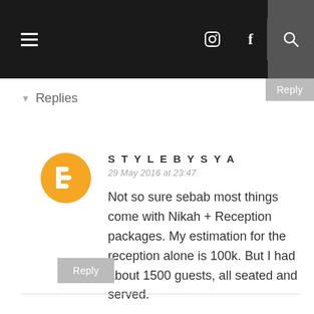Navigation bar with hamburger menu, social icons, and search
Replies
STYLEBYSYA
29 May 2016 at 23:47
Not so sure sebab most things come with Nikah + Reception packages. My estimation for the reception alone is 100k. But I had about 1500 guests, all seated and served.